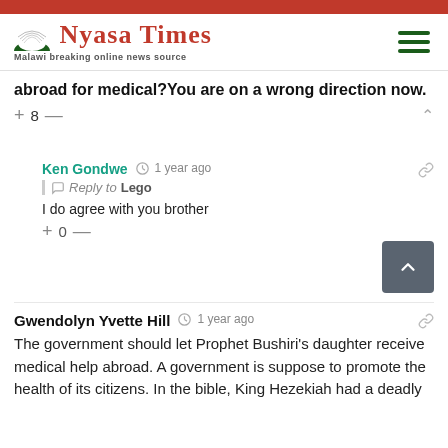Nyasa Times – Malawi breaking online news source
abroad for medical?You are on a wrong direction now.
+ 8 —
Ken Gondwe  1 year ago
Reply to Lego
I do agree with you brother
+ 0 —
Gwendolyn Yvette Hill  1 year ago
The government should let Prophet Bushiri's daughter receive medical help abroad. A government is suppose to promote the health of its citizens. In the bible, King Hezekiah had a deadly